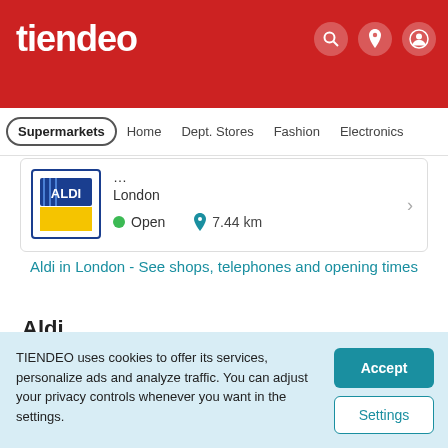tiendeo
Supermarkets  Home  Dept. Stores  Fashion  Electronics
London  Open  7.44 km
Aldi in London - See shops, telephones and opening times
Aldi
Catalogues and current offers from Aldi in London and the surrounding area
TIENDEO uses cookies to offer its services, personalize ads and analyze traffic. You can adjust your privacy controls whenever you want in the settings.